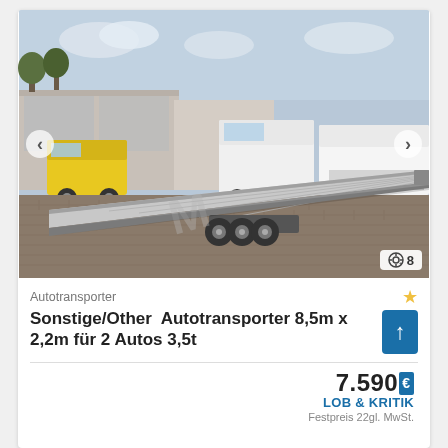[Figure (photo): An auto transporter trailer (Autotransporter) photographed outdoors on a brick-paved lot. The trailer has an aluminum loading ramp tilted at an angle, with triple axle wheels visible. Various commercial vehicles are parked in the background including yellow and white trucks.]
Autotransporter
Sonstige/Other Autotransporter 8,5m x 2,2m für 2 Autos 3,5t
7.590 €
LOB & KRITIK
Festpreis 22gl. MwSt.